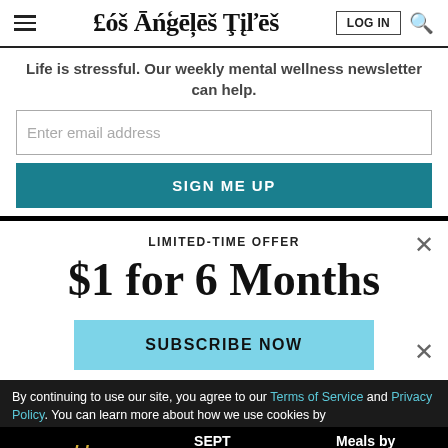Los Angeles Times
Life is stressful. Our weekly mental wellness newsletter can help.
Enter email address
SIGN ME UP
LIMITED-TIME OFFER
$1 for 6 Months
SUBSCRIBE NOW
By continuing to use our site, you agree to our Terms of Service and Privacy Policy. You can learn more about how we use cookies by reviewing our Privacy Policy. Close